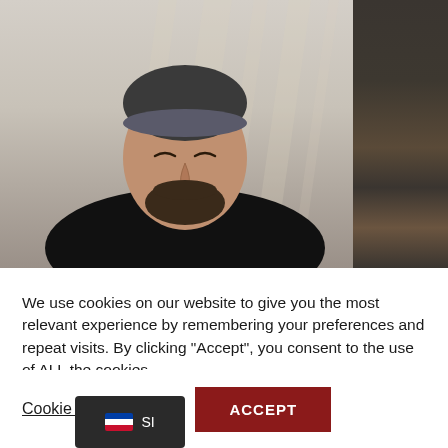[Figure (photo): A man with eyes closed wearing a dark headband and black t-shirt, seated in front of light curtains, with a dark shelving unit visible to the right.]
We use cookies on our website to give you the most relevant experience by remembering your preferences and repeat visits. By clicking “Accept”, you consent to the use of ALL the cookies.
Cookie settings
ACCEPT
SI